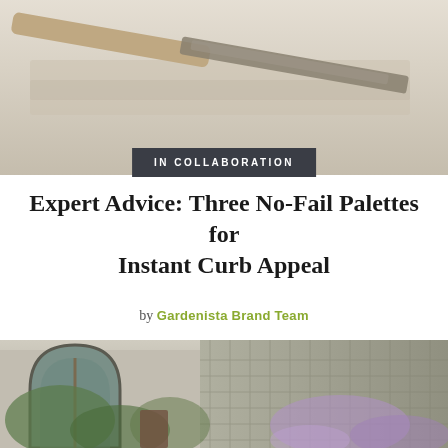[Figure (photo): Top portion of a photo showing a paint brush or spatula on a light gray surface, partially cropped]
IN COLLABORATION
Expert Advice: Three No-Fail Palettes for Instant Curb Appeal
by Gardenista Brand Team
[Figure (photo): Photo of a charming stone house with an arched window, ivy and wisteria growing on the facade, and a decorative roof]